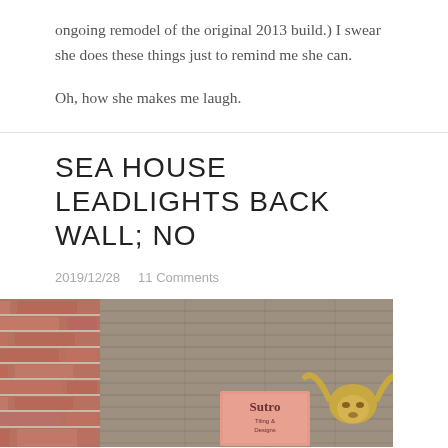ongoing remodel of the original 2013 build.) I swear she does these things just to remind me she can.
Oh, how she makes me laugh.
SEA HOUSE LEADLIGHTS BACK WALL; NO
2019/12/28    11 Comments
[Figure (photo): Photo of a wooden plank wall with a mounted bull skull and a Sutro Tiling & Designs sign, with a brick wall visible on the left side.]